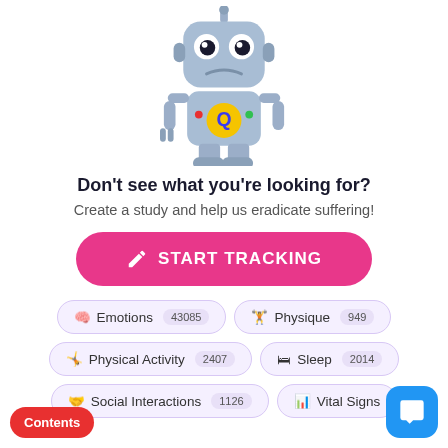[Figure (illustration): Cartoon robot mascot with big eyes, grey boxy body with a Q logo badge, arms at sides, confused expression]
Don't see what you're looking for?
Create a study and help us eradicate suffering!
[Figure (other): Pink rounded button with pencil/edit icon and text START TRACKING]
🧠 Emotions 43085
🏋 Physique 949
🤸 Physical Activity 2407
🛏 Sleep 2014
🤝 Social Interactions 1126
📊 Vital Signs 6...